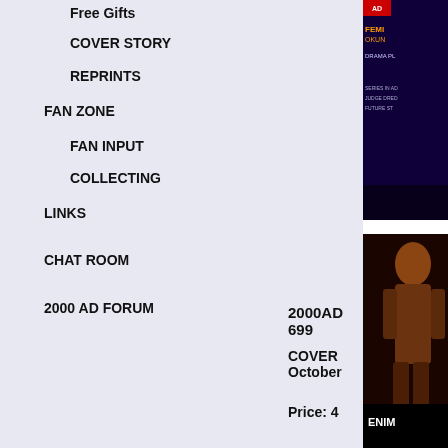Free Gifts
COVER STORY
REPRINTS
FAN ZONE
FAN INPUT
COLLECTING
LINKS
CHAT ROOM
2000 AD FORUM
[Figure (photo): Cover image top - comic book cover with dark blue/purple background]
[Figure (photo): Cover image bottom - comic book cover with dark/orange tones, figure visible, ENIM text at bottom]
2000AD 699
COVER October
Price: 4